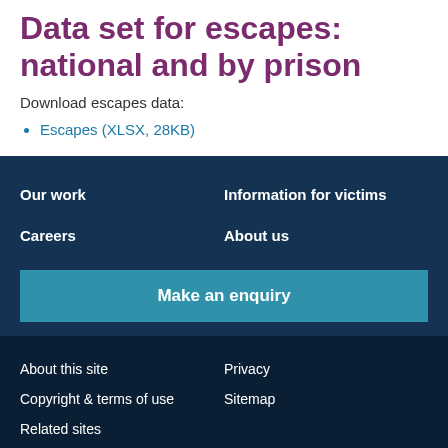Data set for escapes: national and by prison
Download escapes data:
Escapes (XLSX, 28KB)
Our work | Information for victims | Careers | About us | Make an enquiry
About this site | Privacy | Copyright & terms of use | Sitemap | Related sites